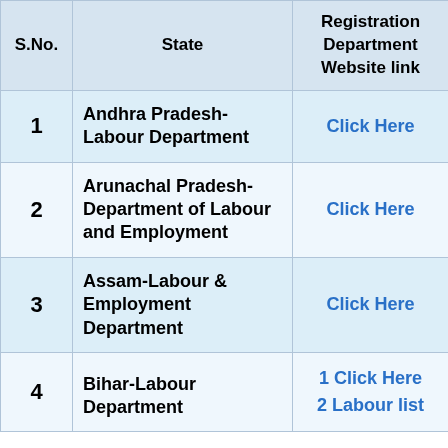| S.No. | State | Registration Department Website link |
| --- | --- | --- |
| 1 | Andhra Pradesh-Labour Department | Click Here |
| 2 | Arunachal Pradesh-Department of Labour and Employment | Click Here |
| 3 | Assam-Labour & Employment Department | Click Here |
| 4 | Bihar-Labour Department | 1 Click Here
2 Labour list |